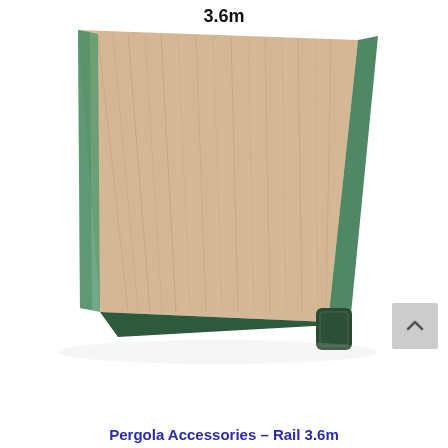[Figure (photo): Product photo of a long green-tinted timber pergola rail (3.6m length) shown at an angle, with wood grain texture visible on top and green painted/treated sides. Label '3.6m' appears above the rail.]
Pergola Accessories – Rail 3.6m